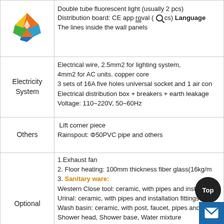[Figure (logo): Colorful diamond/star logo with green, yellow, orange, blue quadrants]
Double tube fluorescent light (usually 2 pcs)
Distribution board: CE approval (…pcs) Language
The lines inside the wall panels
| Category | Details |
| --- | --- |
| Electricity System | Electrical wire, 2.5mm2 for lighting system, 4mm2 for AC units. copper core
3 sets of 16A five holes universal socket and 1 air con
Electrical distribution box + breakers + earth leakage
Voltage: 110~220V, 50~60Hz |
| Others | Lift corner piece
Rainspout: Φ50PVC pipe and others |
| Optional | 1.Exhaust fan
2. Floor heating: 100mm thickness fiber glass(16kg/m
3. Sanitary ware:
Western Close tool: ceramic, with pipes and installation
Urinal: ceramic, with pipes and installation fittings
Wash basin: ceramic, with post, faucet, pipes and installation
Shower head, Shower base, Water mixture
4. Air condition
5. Office furniture |
| Packing | 6sets in a 40GP/40HQ container |